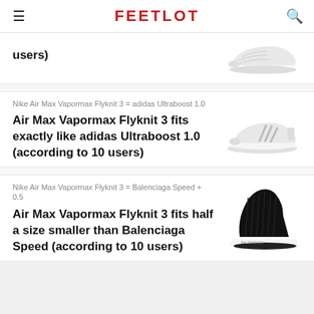FEETLOT
users)
Nike Air Max Vapormax Flyknit 3 = adidas Ultraboost 1.0
Air Max Vapormax Flyknit 3 fits exactly like adidas Ultraboost 1.0 (according to 10 users)
Nike Air Max Vapormax Flyknit 3 = Balenciaga Speed + 0.5
Air Max Vapormax Flyknit 3 fits half a size smaller than Balenciaga Speed (according to 10 users)